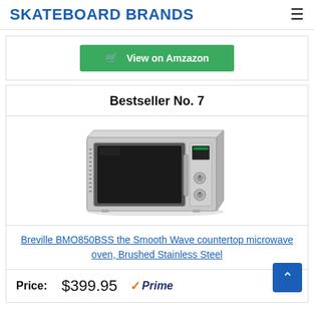SKATEBOARD BRANDS
View on Amzazon
Bestseller No. 7
[Figure (photo): Stainless steel countertop microwave oven (Breville BMO850BSS) photographed at an angle showing the front door, control panel with knobs, and vented side panel.]
Breville BMO850BSS the Smooth Wave countertop microwave oven, Brushed Stainless Steel
Price: $399.95 ✓Prime